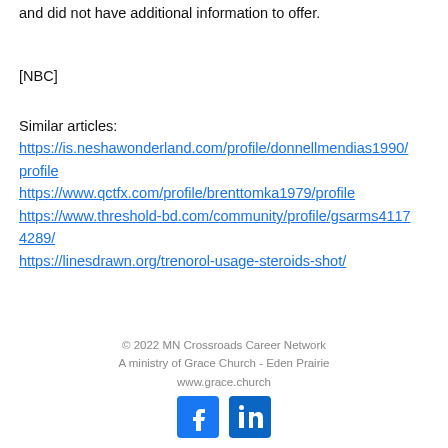and did not have additional information to offer.
[NBC]
Similar articles:
https://is.neshawonderland.com/profile/donnellmendias1990/profile
https://www.qctfx.com/profile/brenttomka1979/profile
https://www.threshold-bd.com/community/profile/gsarms41174289/
https://linesdrawn.org/trenorol-usage-steroids-shot/
© 2022 MN Crossroads Career Network
A ministry of Grace Church - Eden Prairie
www.grace.church